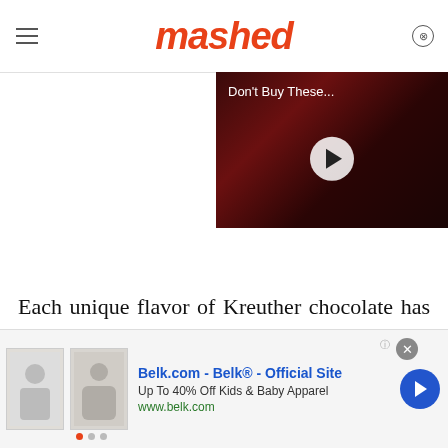mashed
[Figure (screenshot): Video thumbnail showing dark red background with text 'Don't Buy These...' and a white play button circle]
Each unique flavor of Kreuther chocolate has a corresponding story — Chef Aumont gets his inspiration from the bustling, diverse streets of
[Figure (screenshot): Advertisement banner for Belk.com - Belk Official Site. Up To 40% Off Kids & Baby Apparel. www.belk.com. Shows two clothing product images.]